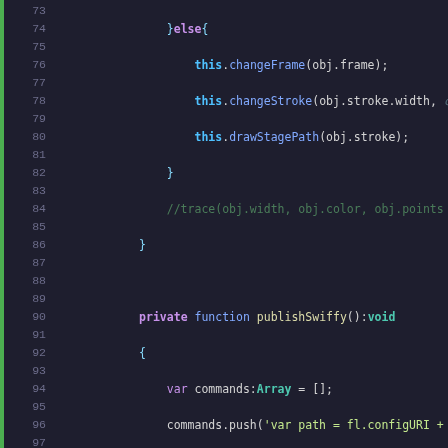Source code listing showing ActionScript/JavaScript code with syntax highlighting, lines 73-99, including functions publishSwiffy(), changeStroke(), and changeFrame().